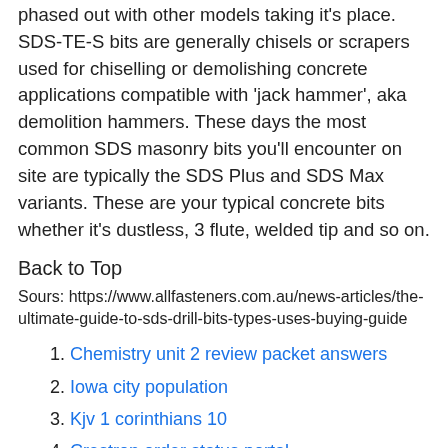phased out with other models taking it's place. SDS-TE-S bits are generally chisels or scrapers used for chiselling or demolishing concrete applications compatible with 'jack hammer', aka demolition hammers. These days the most common SDS masonry bits you'll encounter on site are typically the SDS Plus and SDS Max variants. These are your typical concrete bits whether it's dustless, 3 flute, welded tip and so on.
Back to Top
Sours: https://www.allfasteners.com.au/news-articles/the-ultimate-guide-to-sds-drill-bits-types-uses-buying-guide
Chemistry unit 2 review packet answers
Iowa city population
Kjv 1 corinthians 10
Crestron order status portal
Mill...